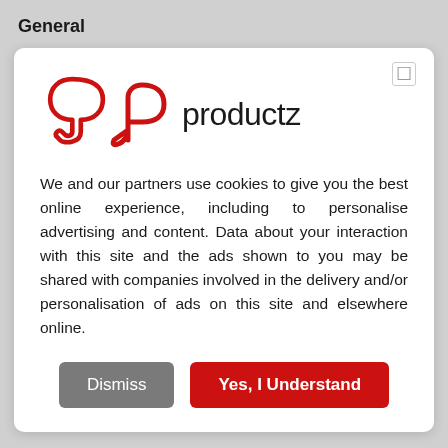General
[Figure (logo): Productz logo with red P-shaped icon and text 'productz' in dark color]
We and our partners use cookies to give you the best online experience, including to personalise advertising and content. Data about your interaction with this site and the ads shown to you may be shared with companies involved in the delivery and/or personalisation of ads on this site and elsewhere online.
Dismiss
Yes, I Understand